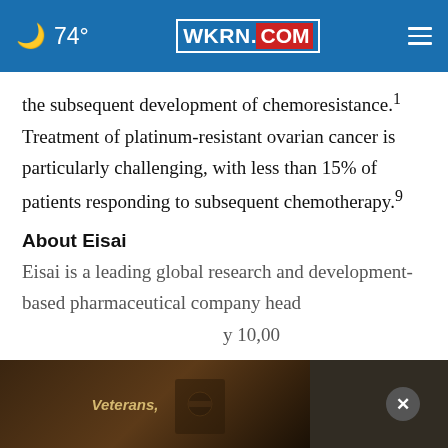74° WKRN.COM
the subsequent development of chemoresistance.¹ Treatment of platinum-resistant ovarian cancer is particularly challenging, with less than 15% of patients responding to subsequent chemotherapy.⁹
About Eisai
Eisai is a leading global research and development-based pharmaceutical company headquartered in Japan with approximately 10,00...